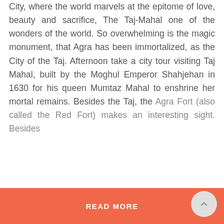City, where the world marvels at the epitome of love, beauty and sacrifice, The Taj-Mahal one of the wonders of the world. So overwhelming is the magic monument, that Agra has been immortalized, as the City of the Taj. Afternoon take a city tour visiting Taj Mahal, built by the Moghul Emperor Shahjehan in 1630 for his queen Mumtaz Mahal to enshrine her mortal remains. Besides the Taj, the Agra Fort (also called the Red Fort) makes an interesting sight. Besides